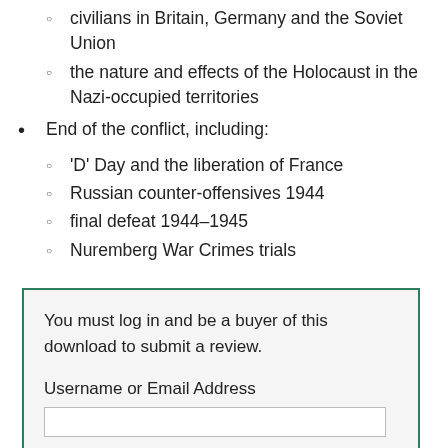civilians in Britain, Germany and the Soviet Union
the nature and effects of the Holocaust in the Nazi-occupied territories
End of the conflict, including:
'D' Day and the liberation of France
Russian counter-offensives 1944
final defeat 1944–1945
Nuremberg War Crimes trials
You must log in and be a buyer of this download to submit a review.
Username or Email Address